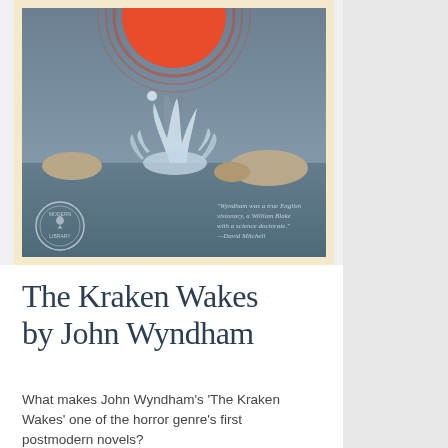[Figure (illustration): Book cover of 'The Kraken Wakes' by John Wyndham (Modern Library edition). Illustrated cover showing a large red sun at the top, a grey-blue ocean scene with rocky formations, and a dramatic water splash/eruption in the center. A small white dot appears in the upper middle area. Bottom left has the Modern Library logo. Bottom right has a quote in italic text: 'Wyndham was a true English visionary, a William Blake with a science doctorate.' —David Mitchell]
The Kraken Wakes by John Wyndham
What makes John Wyndham's 'The Kraken Wakes' one of the horror genre's first postmodern novels?